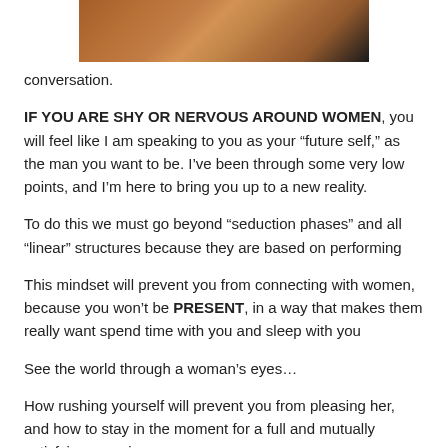[Figure (photo): Partial close-up photo of a snake or reptile texture, dark background with orange/brown scaled skin visible at top of page]
conversation.
IF YOU ARE SHY OR NERVOUS AROUND WOMEN, you will feel like I am speaking to you as your “future self,” as the man you want to be. I’ve been through some very low points, and I’m here to bring you up to a new reality.
To do this we must go beyond “seduction phases” and all “linear” structures because they are based on performing
This mindset will prevent you from connecting with women, because you won’t be PRESENT, in a way that makes them really want spend time with you and sleep with you
See the world through a woman’s eyes…
How rushing yourself will prevent you from pleasing her, and how to stay in the moment for a full and mutually satisfying experience